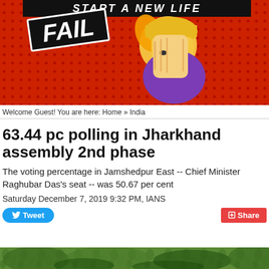[Figure (illustration): Advertisement banner with cartoon facepalm emoji on red polka-dot background, 'FAIL' badge text, and 'START A NEW LIFE' text at top]
Welcome Guest! You are here: Home » India
63.44 pc polling in Jharkhand assembly 2nd phase
The voting percentage in Jamshedpur East -- Chief Minister Raghubar Das's seat -- was 50.67 per cent
Saturday December 7, 2019 9:32 PM, IANS
[Figure (photo): Partial bottom photo strip showing green foliage/trees]